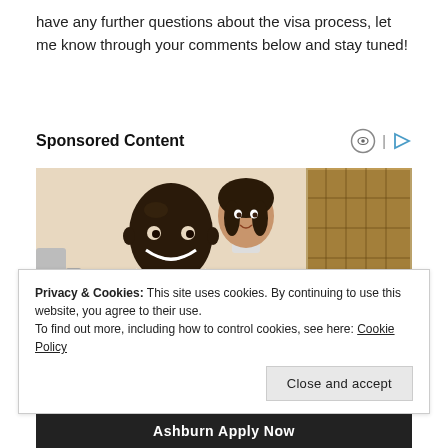have any further questions about the visa process, let me know through your comments below and stay tuned!
Sponsored Content
[Figure (photo): Photo of a smiling male doctor in a white coat with a female medical professional in the background and a child patient in the foreground, in a dental or medical office setting.]
Privacy & Cookies: This site uses cookies. By continuing to use this website, you agree to their use.
To find out more, including how to control cookies, see here: Cookie Policy
Close and accept
Ashburn Apply Now